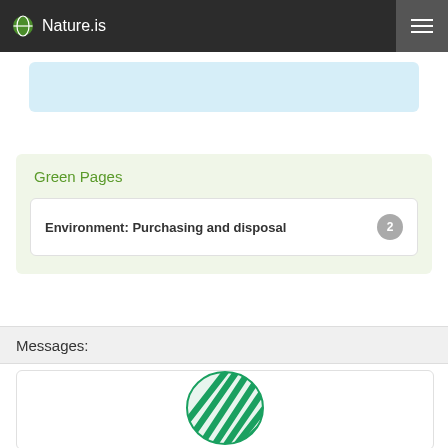Nature.is
Green Pages
Environment: Purchasing and disposal  2
Messages:
[Figure (logo): Nature.is green leaf/globe logo mark — striped green circular icon]